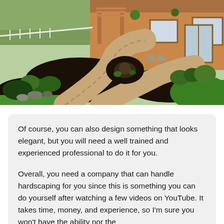[Figure (photo): Outdoor landscaping photo showing a curved brick/paver pathway leading to a wooden house, surrounded by garden beds with plants, rocks, and lush green lawn. A pergola structure is visible near the house.]
Of course, you can also design something that looks elegant, but you will need a well trained and experienced professional to do it for you.
Overall, you need a company that can handle hardscaping for you since this is something you can do yourself after watching a few videos on YouTube. It takes time, money, and experience, so I'm sure you won't have the ability nor the